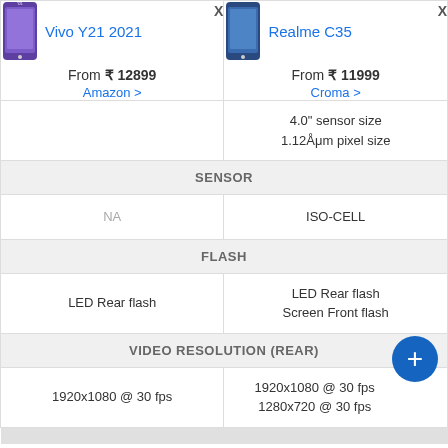| Vivo Y21 2021 | Realme C35 |
| --- | --- |
| From ₹ 12899
Amazon > | From ₹ 11999
Croma > |
|  | 4.0" sensor size
1.12Åμm pixel size |
| SENSOR | SENSOR |
| NA | ISO-CELL |
| FLASH | FLASH |
| LED Rear flash | LED Rear flash
Screen Front flash |
| VIDEO RESOLUTION (REAR) | VIDEO RESOLUTION (REAR) |
| 1920x1080 @ 30 fps | 1920x1080 @ 30 fps
1280x720 @ 30 fps |